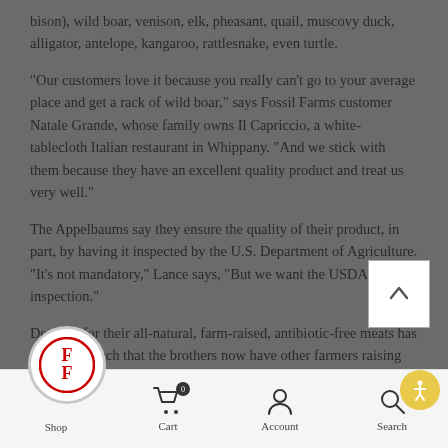bison), wild boar, venison, elk, pheasant, quail, muscovy duck, alligator, antelope, kangaroo, rattlesnake, even turtle.
"Our customers love it because you really can't go to your average place and get a rack of wild boar," says Fossil Farms customer Natale Grande, whose family owns Il Capriccio, a white-tablecloth Italian restaurant in Whippany. "And we stick with them because they have an excellent quality product and treat us very well."
The Appelbaums say they ensure the quality of their product, in part, by having it inspected by the U.S. Department of Agriculture. "It's not mandatory," Lance says, "But we want the USDA inspection."
Demand for their all-natural, farm-raised, antibiotic-free meats has grown so much that the brothers now have other farmers raising the game they well, using a special feed formula and other
Shop   Cart 0   Account   Search